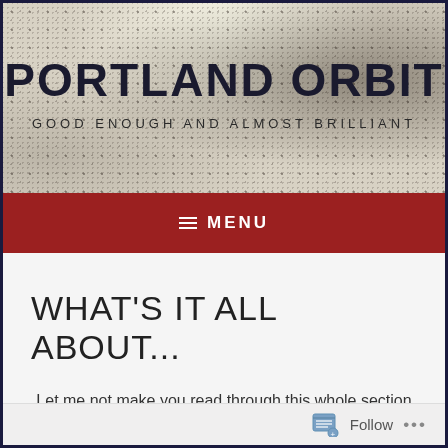[Figure (screenshot): Website header banner with speckled/textured gray background. Contains site title 'PORTLAND ORBIT' in large bold dark letters, and subtitle 'GOOD ENOUGH AND ALMOST BRILLIANT' in smaller spaced letters.]
PORTLAND ORBIT
GOOD ENOUGH AND ALMOST BRILLIANT
≡  MENU
WHAT'S IT ALL ABOUT...
Let me not make you read through this whole section to get to the new news!
Follow  ...